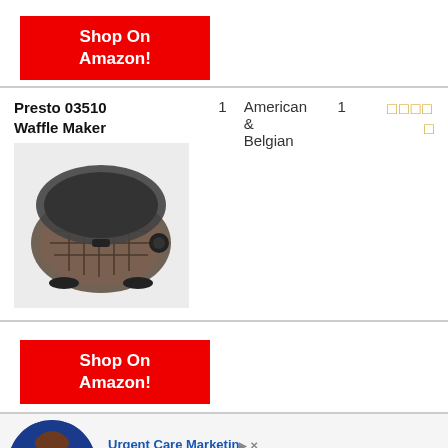[Figure (other): Red 'Shop On Amazon!' button at top]
| Product |  | Type |  | Rating |
| --- | --- | --- | --- | --- |
| Presto 03510 Waffle Maker | 1 | American & Belgian | 1 | ★★★★ ½ |
[Figure (photo): Presto 03510 Waffle Maker product image]
[Figure (other): Red 'Shop On Amazon!' button at bottom]
[Figure (photo): Urgent Care Marketing advertisement with woman in blue circle]
Urgent Care Marketin...
Ad